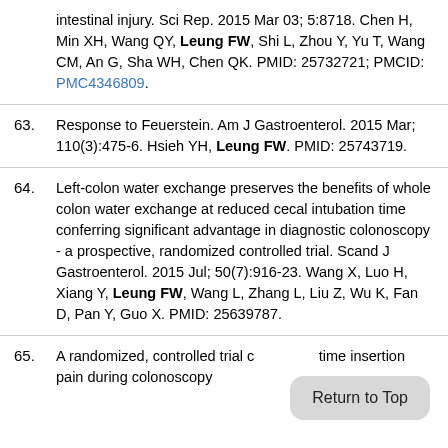intestinal injury. Sci Rep. 2015 Mar 03; 5:8718. Chen H, Min XH, Wang QY, Leung FW, Shi L, Zhou Y, Yu T, Wang CM, An G, Sha WH, Chen QK. PMID: 25732721; PMCID: PMC4346809.
63. Response to Feuerstein. Am J Gastroenterol. 2015 Mar; 110(3):475-6. Hsieh YH, Leung FW. PMID: 25743719.
64. Left-colon water exchange preserves the benefits of whole colon water exchange at reduced cecal intubation time conferring significant advantage in diagnostic colonoscopy - a prospective, randomized controlled trial. Scand J Gastroenterol. 2015 Jul; 50(7):916-23. Wang X, Luo H, Xiang Y, Leung FW, Wang L, Zhang L, Liu Z, Wu K, Fan D, Pan Y, Guo X. PMID: 25639787.
65. A randomized, controlled trial of time insertion pain during colonoscopy